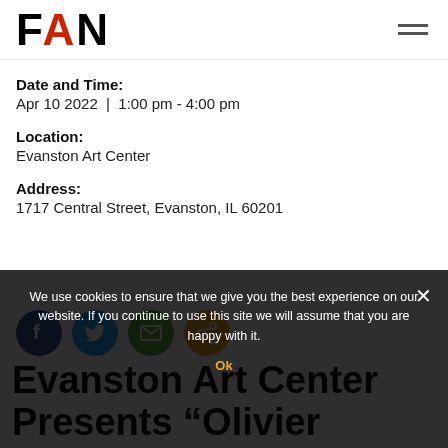FAN
Date and Time:
Apr 10 2022  |  1:00 pm - 4:00 pm
Location:
Evanston Art Center
Address:
1717 Central Street, Evanston, IL 60201
[Figure (infographic): Row of four social share icons: Facebook (blue), Twitter (blue), Email (green), Share (orange)]
We use cookies to ensure that we give you the best experience on our website. If you continue to use this site we will assume that you are happy with it.
Evanston Art Center Presents “Olivier